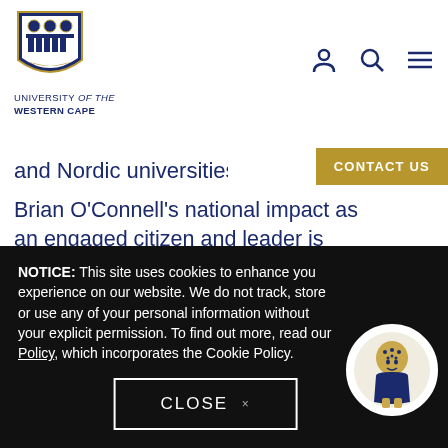[Figure (logo): University of the Western Cape shield logo with blue and gold heraldic design]
UNIVERSITY of the WESTERN CAPE
[Figure (illustration): Navigation icons: user/person icon, search/magnifying glass icon, hamburger menu icon]
and Nordic universities which now has 4
CONTACT US
Brian O'Connell's national impact as an engaged citizen and leader is most apparent in his bold role in combating ignorance regarding HIV/AIDS. UWC developed an exemplary AIDS awareness programme often involving Brian O'Connell's personal engagement
[Figure (illustration): Share icon button with network/share symbol]
NOTICE: This site uses cookies to enhance you experience on our website. We do not track, store or use any of your personal information without your explicit permission. To find out more, read our Policy, which incorporates the Cookie Policy.
[Figure (illustration): UWC mascot character - a cartoon figure with blue outfit and decorated round head, in circular white frame]
CLOSE ×